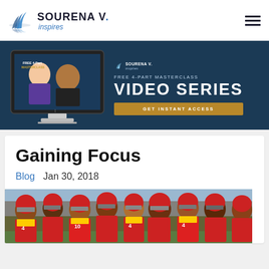SOURENA V. inspires
[Figure (screenshot): Sourena V. Inspires website banner showing Free 4-Part Masterclass Video Series advertisement with a desktop computer monitor and GET INSTANT ACCESS button]
Gaining Focus
Blog   Jan 30, 2018
[Figure (photo): Group of USC football players in red and gold uniforms huddled together on a field]